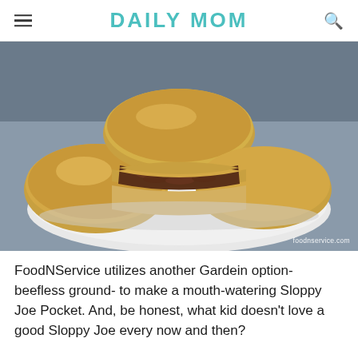DAILY MOM
[Figure (photo): Sloppy Joe Pockets on a white plate - baked bread pockets filled with sloppy joe meat mixture, one cut open showing the ground beef filling. Photo credit: foodnservice.com]
FoodNService utilizes another Gardein option- beefless ground- to make a mouth-watering Sloppy Joe Pocket. And, be honest, what kid doesn't love a good Sloppy Joe every now and then?